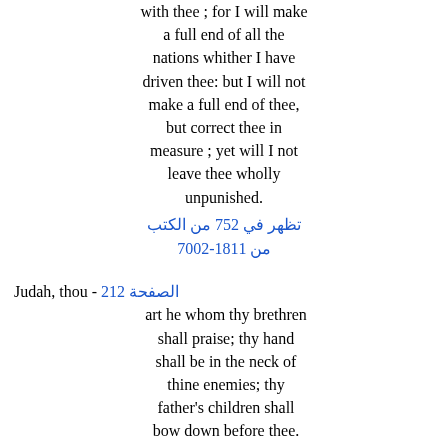with thee ; for I will make a full end of all the nations whither I have driven thee: but I will not make a full end of thee, but correct thee in measure ; yet will I not leave thee wholly unpunished.
تظهر في 257 من الكتب من 1181-2007
Judah, thou - الصفحة 212
art he whom thy brethren shall praise; thy hand shall be in the neck of thine enemies; thy father's children shall bow down before thee. Judah is a lion's whelp; from the prey, my son, thou art gone up. He stooped down, he couched as a lion, and